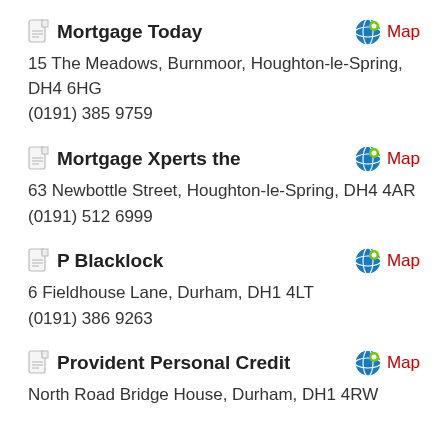Mortgage Today
15 The Meadows, Burnmoor, Houghton-le-Spring, DH4 6HG
(0191) 385 9759
Mortgage Xperts the
63 Newbottle Street, Houghton-le-Spring, DH4 4AR
(0191) 512 6999
P Blacklock
6 Fieldhouse Lane, Durham, DH1 4LT
(0191) 386 9263
Provident Personal Credit
North Road Bridge House, Durham, DH1 4RW